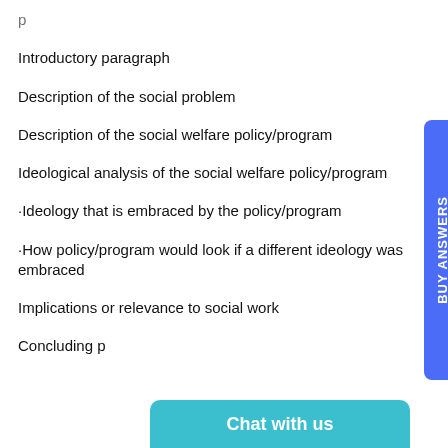Introductory paragraph
Description of the social problem
Description of the social welfare policy/program
Ideological analysis of the social welfare policy/program
·Ideology that is embraced by the policy/program
·How policy/program would look if a different ideology was embraced
Implications or relevance to social work
Concluding p